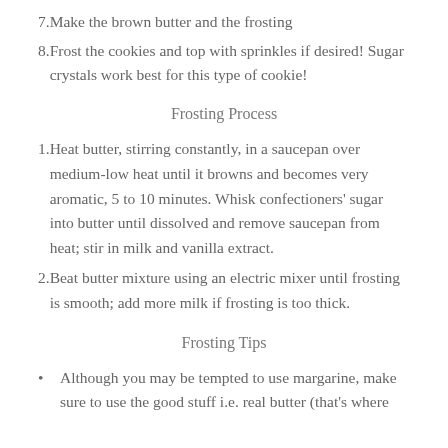7. Make the brown butter and the frosting
8. Frost the cookies and top with sprinkles if desired! Sugar crystals work best for this type of cookie!
Frosting Process
1. Heat butter, stirring constantly, in a saucepan over medium-low heat until it browns and becomes very aromatic, 5 to 10 minutes. Whisk confectioners' sugar into butter until dissolved and remove saucepan from heat; stir in milk and vanilla extract.
2. Beat butter mixture using an electric mixer until frosting is smooth; add more milk if frosting is too thick.
Frosting Tips
Although you may be tempted to use margarine, make sure to use the good stuff i.e. real butter (that's where